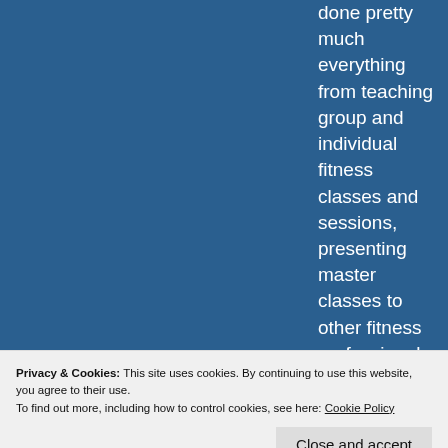done pretty much everything from teaching group and individual fitness classes and sessions, presenting master classes to other fitness professionals and running a multi club group fitness program as a Director of Group Fitness. I am a Canadian Fitness Professional. www.canfitpro.com My current passion is running and I will talk endlessly about it if given even a small opportunity. I have also been known to brag about my age group placings in races. I run for many reasons, but let's face it, the main
[Figure (photo): Circular portrait photo of a blonde woman smiling, with warm lighting]
Privacy & Cookies: This site uses cookies. By continuing to use this website, you agree to their use.
To find out more, including how to control cookies, see here: Cookie Policy
Close and accept
diagnosed with cancer in September